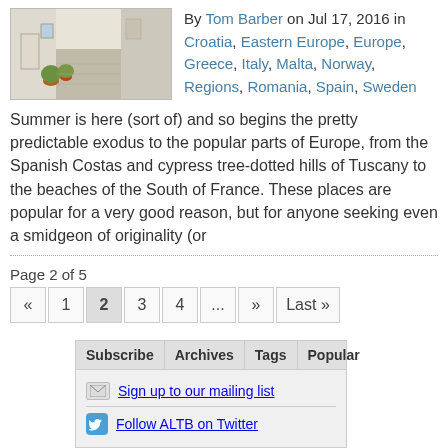[Figure (photo): Whitewashed Mediterranean street with potted plants]
By Tom Barber on Jul 17, 2016 in Croatia, Eastern Europe, Europe, Greece, Italy, Malta, Norway, Regions, Romania, Spain, Sweden
Summer is here (sort of) and so begins the pretty predictable exodus to the popular parts of Europe, from the Spanish Costas and cypress tree-dotted hills of Tuscany to the beaches of the South of France. These places are popular for a very good reason, but for anyone seeking even a smidgeon of originality (or
Page 2 of 5
« 1 2 3 4 ... » Last »
| Subscribe | Archives | Tags | Popular |
| --- | --- | --- | --- |
| Sign up to our mailing list |
| Follow ALTB on Twitter |